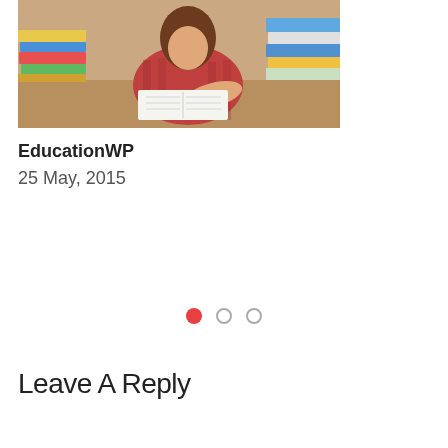[Figure (photo): Student studying with stacks of books, wearing red plaid shirt, viewed from slightly above]
EducationWP
25 May, 2015
[Figure (other): Carousel navigation dots: one filled red, two empty circles]
Leave A Reply
Your email address will not be published. Required fields are marked *